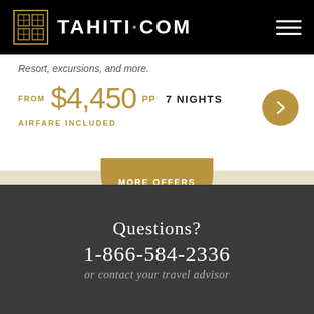TAHITI·COM
Resort, excursions, and more.
FROM $4,450 PP 7 NIGHTS AIRFARE INCLUDED
[Figure (other): More Offers button - gold half-circle with text MORE OFFERS and plus sign]
Questions?
1-866-584-2336
or contact your travel advisor